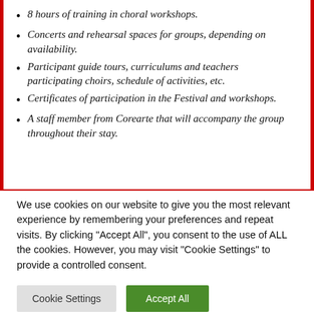8 hours of training in choral workshops.
Concerts and rehearsal spaces for groups, depending on availability.
Participant guide tours, curriculums and teachers participating choirs, schedule of activities, etc.
Certificates of participation in the Festival and workshops.
A staff member from Corearte that will accompany the group throughout their stay.
We use cookies on our website to give you the most relevant experience by remembering your preferences and repeat visits. By clicking "Accept All", you consent to the use of ALL the cookies. However, you may visit "Cookie Settings" to provide a controlled consent.